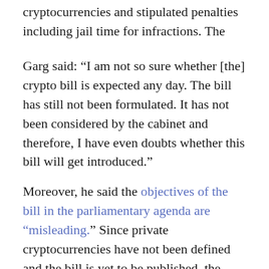cryptocurrencies and stipulated penalties including jail time for infractions. The new crypto bill is a modified version of the 2019 bill.
Garg said: “I am not so sure whether [the] crypto bill is expected any day. The bill has still not been formulated. It has not been considered by the cabinet and therefore, I have even doubts whether this bill will get introduced.”
Moreover, he said the objectives of the bill in the parliamentary agenda are “misleading.” Since private cryptocurrencies have not been defined and the bill is yet to be published, the description of the bill was “perhaps a mistake,” he said.
More importantly, he added that classifying cryptocurrencies as assets would be “another big